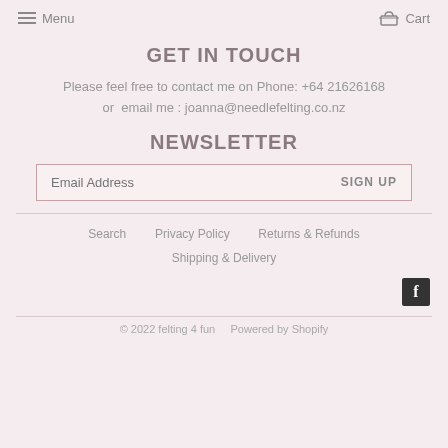Menu   Cart
GET IN TOUCH
Please feel free to contact me on Phone: +64 21626168
or  email me : joanna@needlefelting.co.nz
NEWSLETTER
Email Address  SIGN UP
Search
Privacy Policy
Returns & Refunds
Shipping & Delivery
[Figure (logo): Facebook logo icon, dark square with white F]
© 2022 felting 4 fun   Powered by Shopify